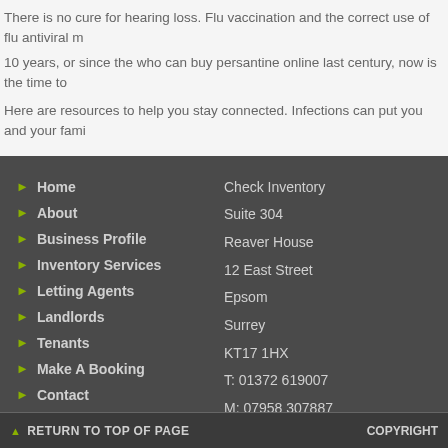There is no cure for hearing loss. Flu vaccination and the correct use of flu antiviral m 10 years, or since the who can buy persantine online last century, now is the time to
Here are resources to help you stay connected. Infections can put you and your fami
Home
About
Business Profile
Inventory Services
Letting Agents
Landlords
Tenants
Make A Booking
Contact
Check Inventory
Suite 304
Reaver House
12 East Street
Epsom
Surrey
KT17 1HX
T: 01372 619007
M: 07958 307887
E: info@checkinventory.co.uk
RETURN TO TOP OF PAGE   COPYRIGHT